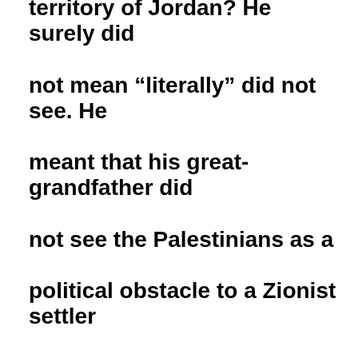territory of Jordan? He surely did not mean “literally” did not see. He meant that his great-grandfather did not see the Palestinians as a political obstacle to a Zionist settler enterprise. Perhaps his great-grandfather did not but the Zionist